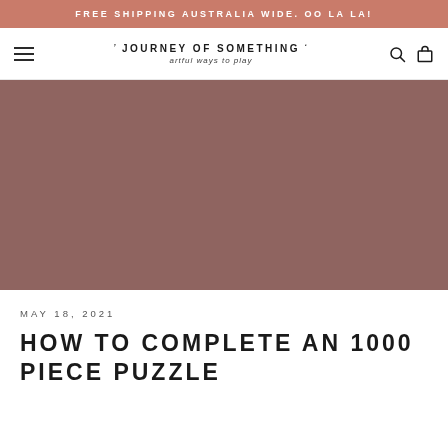FREE SHIPPING AUSTRALIA WIDE. OO LA LA!
JOURNEY OF SOMETHING artful ways to play
[Figure (photo): Hero image placeholder in muted rosewood/mauve color]
MAY 18, 2021
HOW TO COMPLETE AN 1000 PIECE PUZZLE